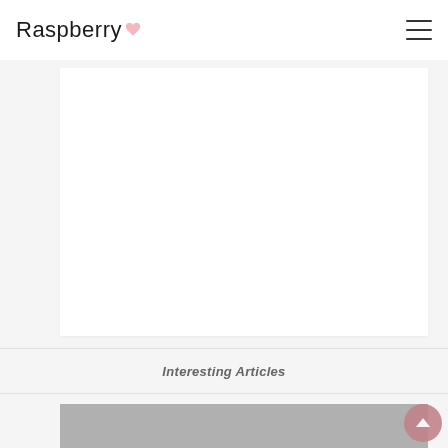Raspberry
[Figure (illustration): White rectangle content area placeholder on light gray background]
Interesting Articles
[Figure (photo): Gray thumbnail image card for article: How To Make A Frog Out Of Paper]
How To Make A Frog Out Of Paper